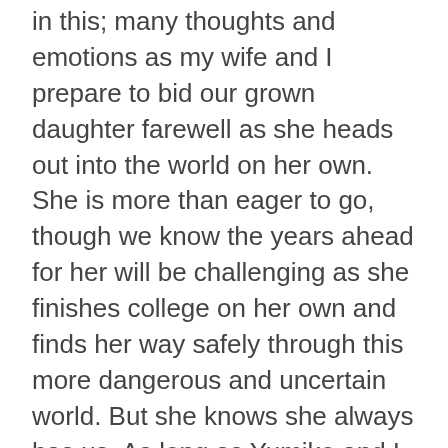in this; many thoughts and emotions as my wife and I prepare to bid our grown daughter farewell as she heads out into the world on her own. She is more than eager to go, though we know the years ahead for her will be challenging as she finishes college on her own and finds her way safely through this more dangerous and uncertain world. But she knows she always has us. As long as Yumiko and I are around Emily will always have a safe port in a storm, and a warm meal and a soft bed, and two happy little doggies eager to see her whenever she decides to visit.

Now, Yumiko and I must decide what to do with our time after our